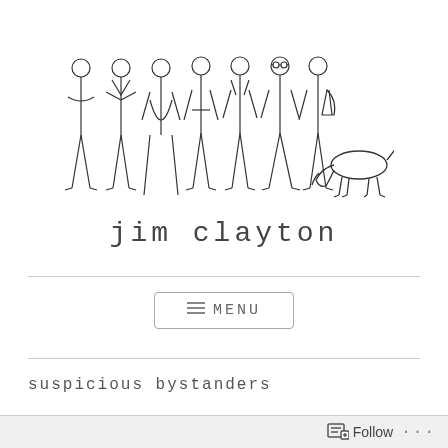[Figure (illustration): Line drawing of seven people standing in a row (various poses, men and women) with a dog sniffing the ground to the right side]
jim clayton
[Figure (other): Menu button with three horizontal lines icon and text MENU]
suspicious bystanders
Follow ...